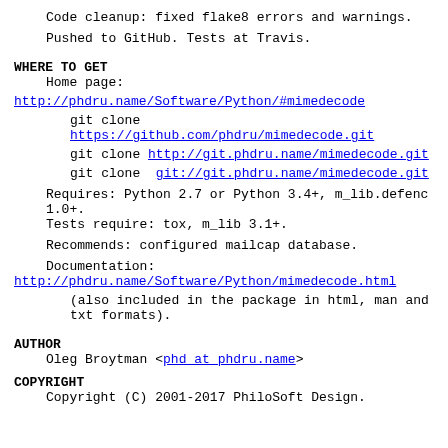Code cleanup: fixed flake8 errors and warnings.
Pushed to GitHub. Tests at Travis.
WHERE TO GET
Home page:
http://phdru.name/Software/Python/#mimedecode
git clone https://github.com/phdru/mimedecode.git
git clone http://git.phdru.name/mimedecode.git
git clone  git://git.phdru.name/mimedecode.git
Requires: Python 2.7 or Python 3.4+, m_lib.defenc 1.0+.
Tests require: tox, m_lib 3.1+.
Recommends: configured mailcap database.
Documentation:
http://phdru.name/Software/Python/mimedecode.html
(also included in the package in html, man and txt formats).
AUTHOR
Oleg Broytman <phd at phdru.name>
COPYRIGHT
Copyright (C) 2001-2017 PhiloSoft Design.